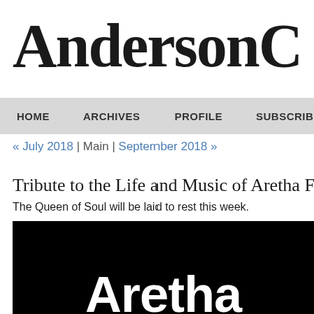AndersonC
HOME | ARCHIVES | PROFILE | SUBSCRIBE
« July 2018 | Main | September 2018 »
Tribute to the Life and Music of Aretha Fra...
The Queen of Soul will be laid to rest this week.
[Figure (photo): Black background with large white bold text reading 'Aretha' at the bottom, partially visible]